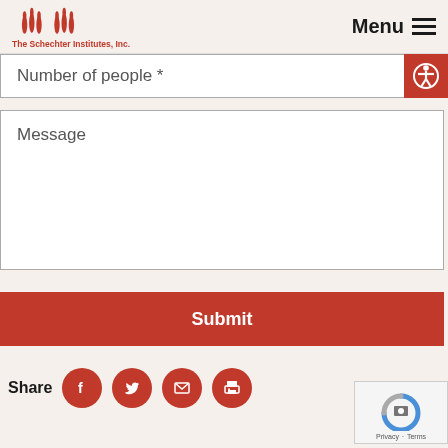The Schechter Institutes, Inc. — Menu
Number of people *
Message
Submit
Share
[Figure (screenshot): reCAPTCHA widget with Privacy and Terms links]